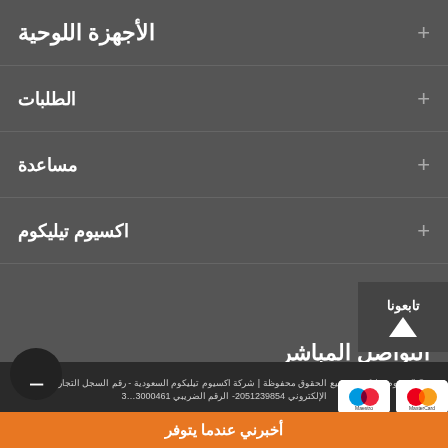الأجهزة اللوحية
الطلبات
مساعدة
اكسيوم تيليكوم
التواصل المباشر
تابعونا
© اكسيوم تيليكوم , جميع الحقوق محفوظة | شركة اكسيوم تيليكوم السعودية - رقم السجل التجاري للمتجر الإلكتروني 2051239854- الرقم الضريبي 3000461...3
أخبرني عندما يتوفر